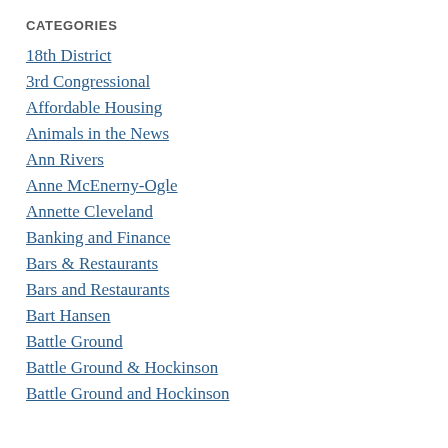CATEGORIES
18th District
3rd Congressional
Affordable Housing
Animals in the News
Ann Rivers
Anne McEnerny-Ogle
Annette Cleveland
Banking and Finance
Bars & Restaurants
Bars and Restaurants
Bart Hansen
Battle Ground
Battle Ground & Hockinson
Battle Ground and Hockinson